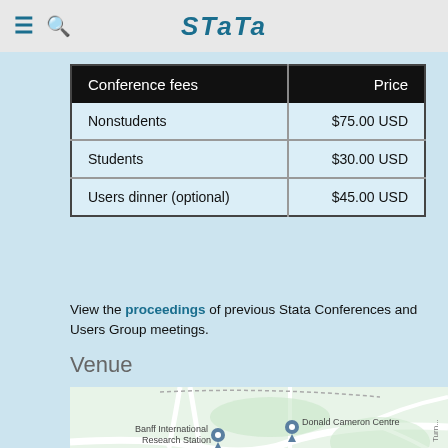Stata
| Conference fees | Price |
| --- | --- |
| Nonstudents | $75.00 USD |
| Students | $30.00 USD |
| Users dinner (optional) | $45.00 USD |
View the proceedings of previous Stata Conferences and Users Group meetings.
Venue
[Figure (map): Google Maps view showing Banff International Research Station, Donald Cameron Centre, Lloyd Hall, and Buffalo St in Banff, Alberta.]